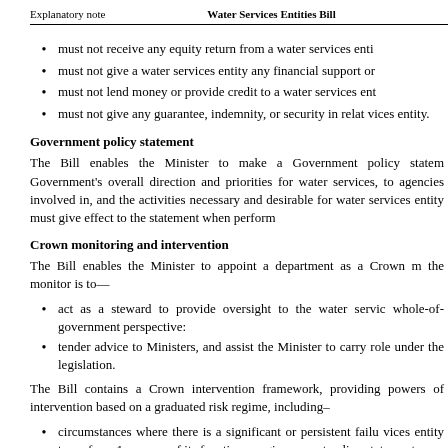Explanatory note    Water Services Entities Bill
must not receive any equity return from a water services enti…
must not give a water services entity any financial support or…
must not lend money or provide credit to a water services ent…
must not give any guarantee, indemnity, or security in relat… vices entity.
Government policy statement
The Bill enables the Minister to make a Government policy statem… Government's overall direction and priorities for water services, to… agencies involved in, and the activities necessary and desirable for… water services entity must give effect to the statement when perform…
Crown monitoring and intervention
The Bill enables the Minister to appoint a department as a Crown m… the monitor is to—
act as a steward to provide oversight to the water servic… whole-of-government perspective:
tender advice to Ministers, and assist the Minister to carry… role under the legislation.
The Bill contains a Crown intervention framework, providing… powers of intervention based on a graduated risk regime, including–
circumstances where there is a significant or persistent failu… vices entity to perform 1 or more of its functions or give e… ment policy statement: